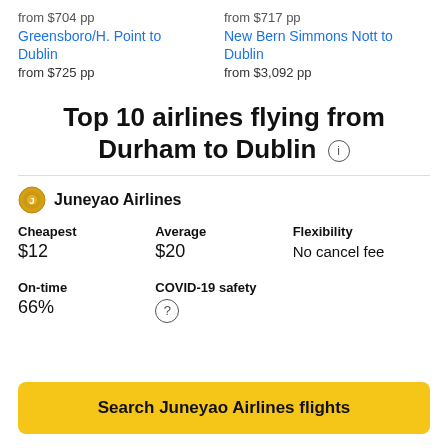from $704 pp
from $717 pp
Greensboro/H. Point to Dublin
New Bern Simmons Nott to Dublin
from $725 pp
from $3,092 pp
Top 10 airlines flying from Durham to Dublin
Juneyao Airlines
| Cheapest | Average | Flexibility |
| --- | --- | --- |
| $12 | $20 | No cancel fee |
| On-time | COVID-19 safety |  |
| --- | --- | --- |
| 66% | ? |  |
Search Juneyao Airlines flights